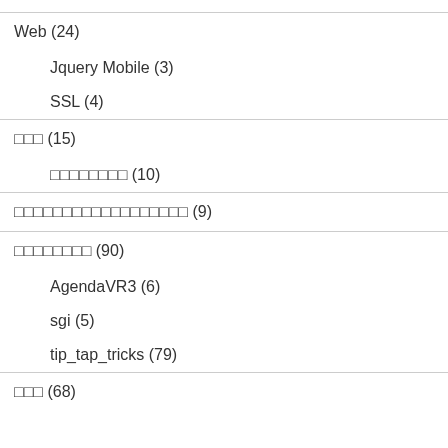Web (24)
Jquery Mobile (3)
SSL (4)
□□□ (15)
□□□□□□□□ (10)
□□□□□□□□□□□□□□□□□□ (9)
□□□□□□□□ (90)
AgendaVR3 (6)
sgi (5)
tip_tap_tricks (79)
□□□ (68)